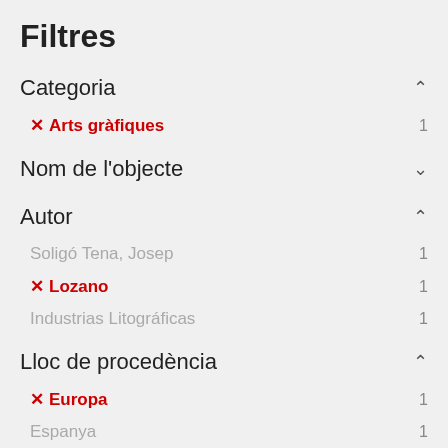Filtres
Categoria
✗ Arts gràfiques  1
Nom de l'objecte
Autor
Soligó Tena, Josep  1
✗ Lozano  1
Industrias Litográficas  1
Lloc de procedència
✗ Europa  1
Espanya  1
Castella i Lleó  1